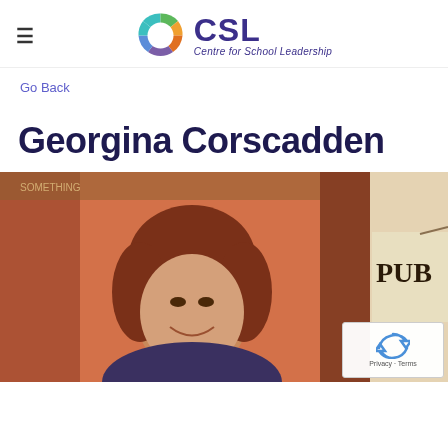[Figure (logo): CSL Centre for School Leadership logo with colourful circular icon and purple text]
Go Back
Georgina Corscadden
[Figure (photo): Photo of Georgina Corscadden, a woman with auburn hair smiling, with an orange background and a PUB sign partially visible on the right]